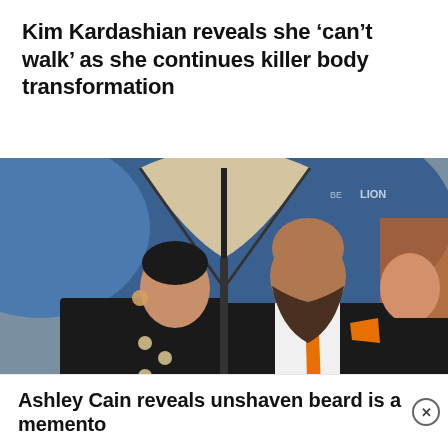Kim Kardashian reveals she 'can't walk' as she continues killer body transformation
[Figure (photo): A woman in a black military-style jacket with silver buttons and a bald bearded man in a black suit with an orange tie and pocket square, standing under a blue and beige umbrella in a crowd.]
Ashley Cain reveals unshaven beard is a memento